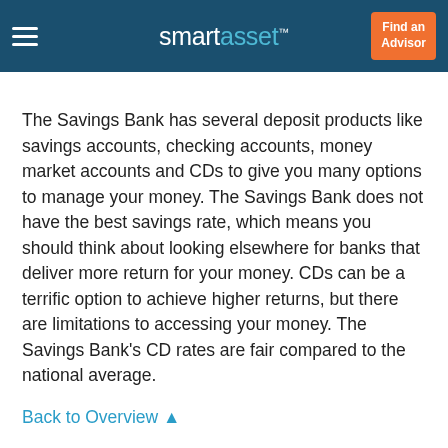smartasset™ | Find an Advisor
The Savings Bank has several deposit products like savings accounts, checking accounts, money market accounts and CDs to give you many options to manage your money. The Savings Bank does not have the best savings rate, which means you should think about looking elsewhere for banks that deliver more return for your money. CDs can be a terrific option to achieve higher returns, but there are limitations to accessing your money. The Savings Bank's CD rates are fair compared to the national average.
Back to Overview ▲